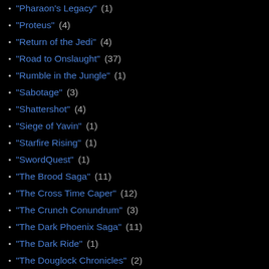"Pharaon's Legacy" (1)
"Proteus" (4)
"Return of the Jedi" (4)
"Road to Onslaught" (37)
"Rumble in the Jungle" (1)
"Sabotage" (3)
"Shattershot" (4)
"Siege of Yavin" (1)
"Starfire Rising" (1)
"SwordQuest" (1)
"The Brood Saga" (11)
"The Cross Time Caper" (12)
"The Crunch Conundrum" (3)
"The Dark Phoenix Saga" (11)
"The Dark Ride" (1)
"The Douglock Chronicles" (2)
"The Dying Game" (1)
"The Empire Strikes Back" (8)
"The Evolutionary War" (3)
"The Fall of Avalon" (2)
"The Gehenna Stone Affair" (4)
"The Hunt for Karma" (3)
"The Killing Field" (2)
A Work in Pro
Xavier's encou
issue #12) and
loss of his legs

Not only is Far

Jean Grey mo
At the airport,